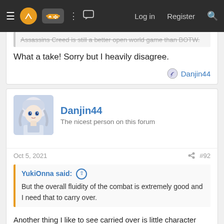Navigation bar with menu, logo, controller icon, grid icon, chat icon, Log in, Register, Search
Assassins Creed is still a better open world game than BOTW.
What a take! Sorry but I heavily disagree.
Danjin44
Danjin44
The nicest person on this forum
Oct 5, 2021   #92
YukiOnna said:
But the overall fluidity of the combat is extremely good and I need that to carry over.
Another thing I like to see carried over is little character development. As much as I highly enjoyed games like Bloodborne, I honestly couldn't care about its characters other than their lore dumps. 2, this is the place where different